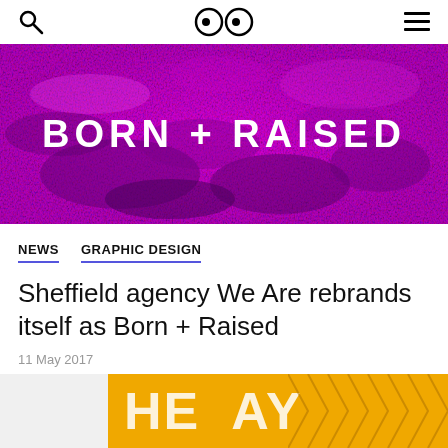Search | Logo (eyes icon) | Menu
[Figure (photo): Purple/magenta fuzzy fur texture background with white bold uppercase text 'BORN + RAISED' overlaid in the center]
NEWS   GRAPHIC DESIGN
Sheffield agency We Are rebrands itself as Born + Raised
11 May 2017
[Figure (photo): Partially visible yellow/gold banner with white text partially reading 'THE' and 'AY' with chevron pattern, at the bottom of the page]